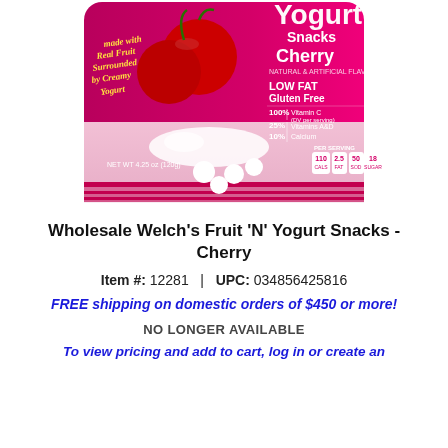[Figure (photo): Product photo of Welch's Fruit 'N' Yogurt Snacks - Cherry package, showing cherries and yogurt-covered snack pieces on a pink/magenta bag with nutritional info]
Wholesale Welch's Fruit 'N' Yogurt Snacks - Cherry
Item #: 12281  |  UPC: 034856425816
FREE shipping on domestic orders of $450 or more!
NO LONGER AVAILABLE
To view pricing and add to cart, log in or create an